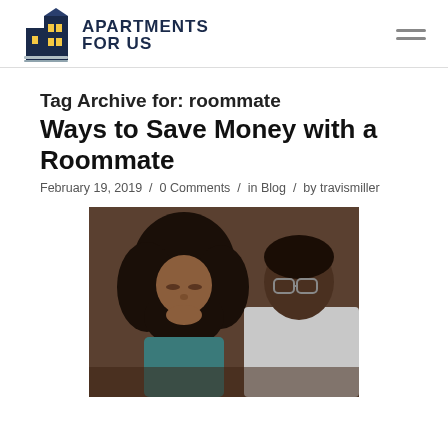APARTMENTS FOR US — logo and navigation
Tag Archive for: roommate
Ways to Save Money with a Roommate
February 19, 2019 / 0 Comments / in Blog / by travismiller
[Figure (photo): Two people, a woman with curly hair resting her chin on her hand and a man with glasses leaning in, looking at something together — likely finances or paperwork.]